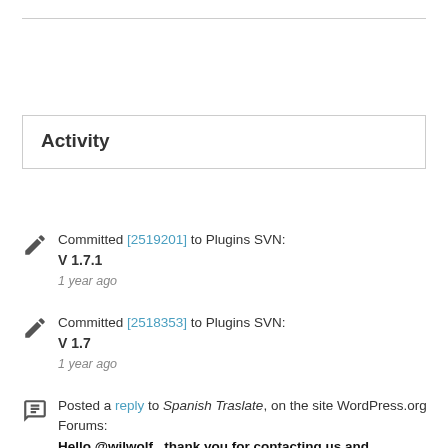Activity
Committed [2519201] to Plugins SVN:
V 1.7.1
1 year ago
Committed [2518353] to Plugins SVN:
V 1.7
1 year ago
Posted a reply to Spanish Traslate, on the site WordPress.org Forums:
Hello @wilwolf , thank you for contacting us and volunteering to help us make the...